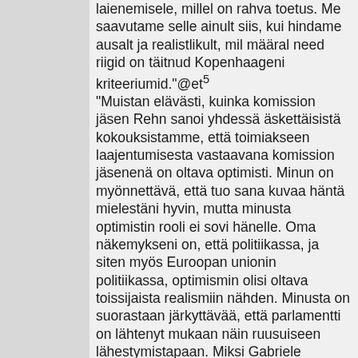laienemisele, millel on rahva toetus. Me saavutame selle ainult siis, kui hindame ausalt ja realistlikult, mil määral need riigid on täitnud Kopenhaageni kriteeriumid."@et5 "Muistan elävästi, kuinka komission jäsen Rehn sanoi yhdessä äskettäisistä kokouksistamme, että toimiakseen laajentumisesta vastaavana komission jäsenenä on oltava optimisti. Minun on myönnettävä, että tuo sana kuvaa häntä mielestäni hyvin, mutta minusta optimistin rooli ei sovi hänelle. Oma näkemykseni on, että politiikassa, ja siten myös Euroopan unionin politiikassa, optimismin olisi oltava toissijaista realismiin nähden. Minusta on suorastaan järkyttävää, että parlamentti on lähtenyt mukaan näin ruusuiseen lähestymistapaan. Miksi Gabriele Albertinin